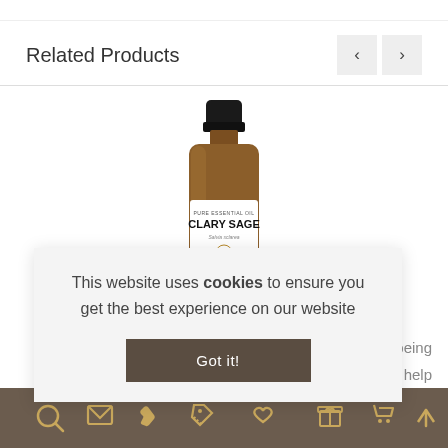Related Products
[Figure (photo): Amber glass bottle of Clary Sage Pure Essential Oil 10ml with white label and black cap]
Clary Sage Essential Oil 10ml
This website uses cookies to ensure you get the best experience on our website
Got it!
s being to help
[Figure (infographic): Footer navigation bar with icons: search, envelope/email, phone, tag/discount, heart/wishlist, gift/product, shopping cart, arrow up]